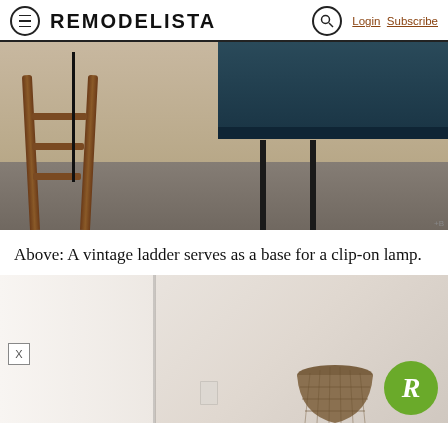REMODELISTA  Login  Subscribe
[Figure (photo): Bottom portion of a room showing a vintage ladder used as a lamp base, with a grey rug, wood floor, and dark sofa partially visible]
Above: A vintage ladder serves as a base for a clip-on lamp.
[Figure (photo): Partial view of a room with light beige walls, a wicker or woven basket/lamp shade, and a Remodelista green circular logo badge in bottom right corner]